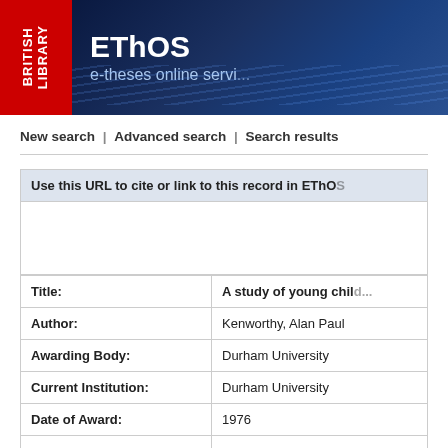[Figure (logo): British Library EThOS (e-theses online service) header banner with red British Library logo on left and dark blue EThOS banner on right]
New search | Advanced search | Search results
Use this URL to cite or link to this record in EThOS:
| Title: | A study of young chil... |
| Author: | Kenworthy, Alan Paul |
| Awarding Body: | Durham University |
| Current Institution: | Durham University |
| Date of Award: | 1976 |